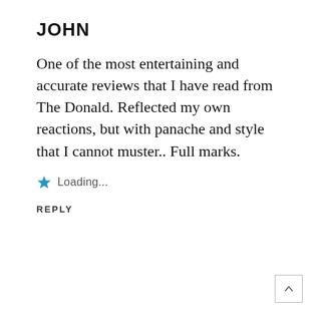JOHN
One of the most entertaining and accurate reviews that I have read from The Donald. Reflected my own reactions, but with panache and style that I cannot muster.. Full marks.
★ Loading...
REPLY